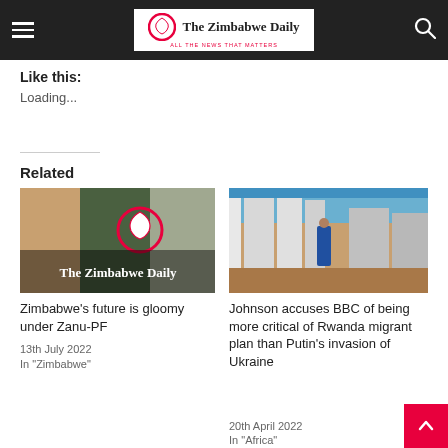The Zimbabwe Daily
Like this:
Loading...
Related
[Figure (photo): The Zimbabwe Daily logo placeholder image with Zimbabwe map icon overlay]
Zimbabwe's future is gloomy under Zanu-PF
13th July 2022
In "Zimbabwe"
[Figure (photo): Photo of a refugee camp scene with a person in blue dress walking between temporary structures]
Johnson accuses BBC of being more critical of Rwanda migrant plan than Putin's invasion of Ukraine
20th April 2022
In "Africa"